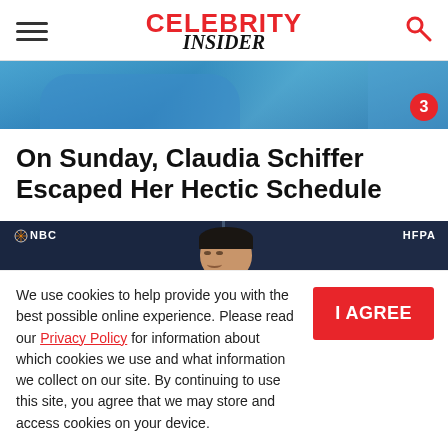CELEBRITY INSIDER
[Figure (photo): Top cropped photo strip showing a person in blue, partially visible, with a red badge showing number 3]
On Sunday, Claudia Schiffer Escaped Her Hectic Schedule
[Figure (photo): Man smiling at Golden Globes red carpet event, NBC and HFPA banners visible, showing GOLDEN text on backdrop]
We use cookies to help provide you with the best possible online experience. Please read our Privacy Policy for information about which cookies we use and what information we collect on our site. By continuing to use this site, you agree that we may store and access cookies on your device.